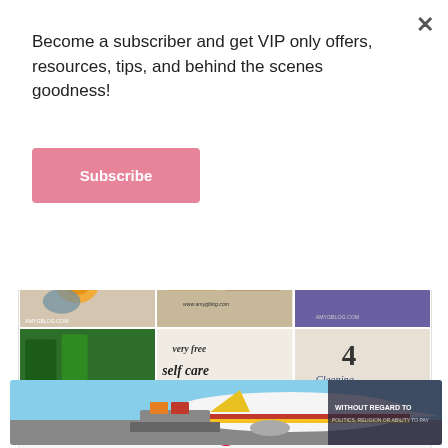Become a subscriber and get VIP only offers, resources, tips, and behind the scenes goodness!
Subscribe
[Figure (screenshot): Grid of Pinterest blog images: soup bowl craft, product flat lay, very free self care printable, 4 Cleaning Hacks, DIY Christmas, autumn decor]
Follow On Pinterest
[Figure (photo): Advertisement banner showing airplane being loaded with cargo on tarmac with text 'WITHOUT REGARD TO POLITICS, RELIGION OR ABILITY TO PAY']